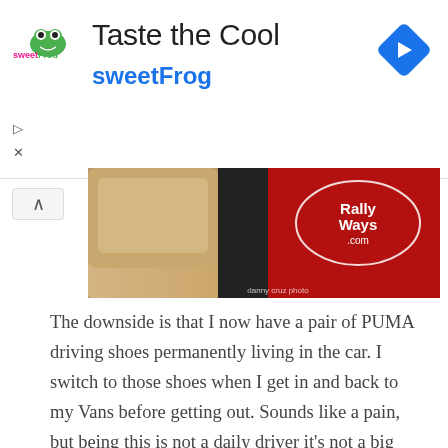[Figure (infographic): Advertisement banner for sweetFrog frozen yogurt: 'Taste the Cool' headline with sweetFrog logo and Google navigation diamond icon on the right.]
[Figure (photo): Partial photo of car interior showing tan/beige floor mat, seat, and red car door trim with RallyWays.com logo watermark and 'danny cruz photo' credit.]
The downside is that I now have a pair of PUMA driving shoes permanently living in the car. I switch to those shoes when I get in and back to my Vans before getting out. Sounds like a pain, but being this is not a daily driver it's not a big deal. Yes, quality mats like these are easier to clean, but I just don't want to do it. Maybe in the near future I'll get a set of black ones for driving